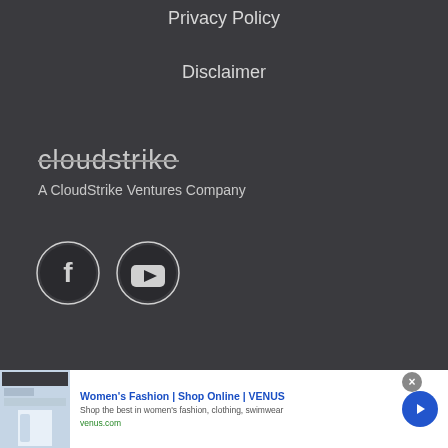Privacy Policy
Disclaimer
[Figure (logo): CloudStrike logo in strikethrough style text]
A CloudStrike Ventures Company
[Figure (other): Social media icons: Facebook circle icon and YouTube circle icon]
[Figure (other): Advertisement banner: Women's Fashion | Shop Online | VENUS - Shop the best in women's fashion, clothing, swimwear - venus.com]